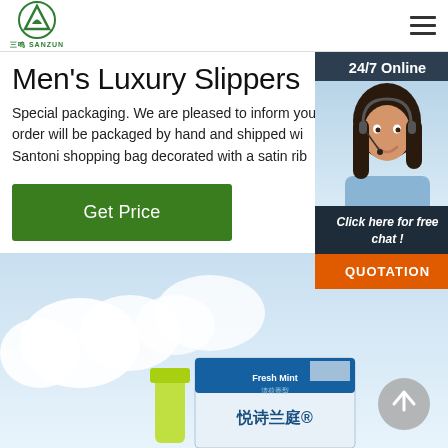三鸣 SANZUN logo with hamburger menu
Men's Luxury Slippers
Special packaging. We are pleased to inform you order will be packaged by hand and shipped wi Santoni shopping bag decorated with a satin rib
Get Price
[Figure (photo): 24/7 Online customer service agent chat widget with female agent wearing headset. Includes 'Click here for free chat!' text and orange QUOTATION button.]
[Figure (photo): Product image showing hygiene/personal care products on light blue background with clouds, featuring Chinese-language packaging including 悦诗兰庭 brand items.]